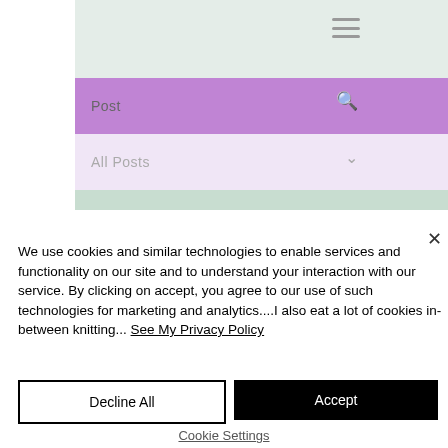[Figure (screenshot): Website UI showing a navigation menu with a green header bar with hamburger icon, a purple 'Post' bar with search icon, and a light purple 'All Posts' dropdown bar with chevron icon.]
We use cookies and similar technologies to enable services and functionality on our site and to understand your interaction with our service. By clicking on accept, you agree to our use of such technologies for marketing and analytics....I also eat a lot of cookies in-between knitting... See My Privacy Policy
Decline All
Accept
Cookie Settings